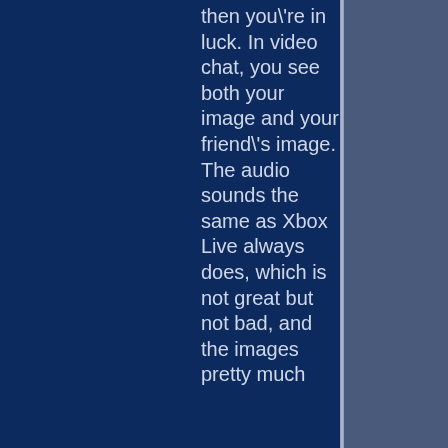then you're in luck. In video chat, you see both your image and your friend's image. The audio sounds the same as Xbox Live always does, which is not great but not bad, and the images pretty much